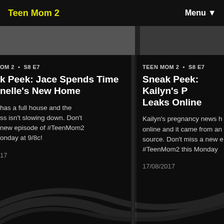Teen Mom 2   Menu
OM 2 • S8 E7
k Peek: Jace Spends Time
nelle's New Home
has a full house and the
ss isn't slowing down. Don't
new episode of #TeenMom2
onday at 9/8c!
17
TEEN MOM 2 • S8 E7
Sneak Peek: Kailyn's P... Leaks Online
Kailyn's pregnancy news h... online and it came from an... source. Don't miss a new e... #TeenMom2 this Monday...
17/08/2017